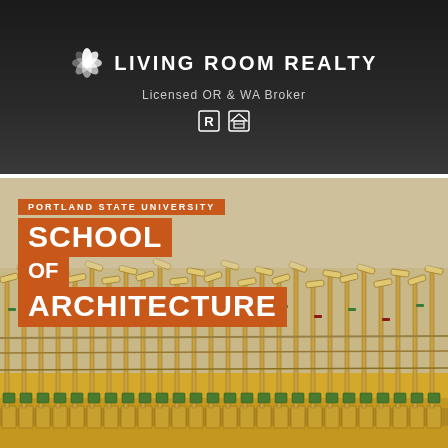[Figure (logo): Living Room Realty logo header with dark background, stylized aperture/flower logo icon, company name LIVING ROOM REALTY, text 'Licensed OR & WA Broker', and realtor/equal housing icons]
[Figure (photo): Close-up photograph of the internal mechanism of an upright piano showing hammers, dampers, and action components in cream/tan/olive colors, with the Portland State University School of Architecture text overlay in orange]
PORTLAND STATE UNIVERSITY
SCHOOL
OF
ARCHITECTURE